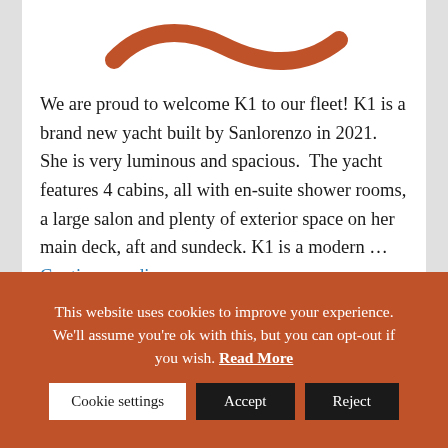[Figure (logo): Swoosh/wave logo in burnt orange/terracotta color, centered at top of page]
We are proud to welcome K1 to our fleet! K1 is a brand new yacht built by Sanlorenzo in 2021. She is very luminous and spacious.  The yacht features 4 cabins, all with en-suite shower rooms, a large salon and plenty of exterior space on her main deck, aft and sundeck. K1 is a modern ... Continue reading
This website uses cookies to improve your experience. We'll assume you're ok with this, but you can opt-out if you wish. Read More